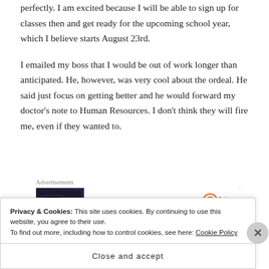perfectly. I am excited because I will be able to sign up for classes then and get ready for the upcoming school year, which I believe starts August 23rd.
I emailed my boss that I would be out of work longer than anticipated. He, however, was very cool about the ordeal. He said just focus on getting better and he would forward my doctor’s note to Human Resources. I don’t think they will fire me, even if they wanted to.
[Figure (other): Advertisement banner showing 'Your next favorite' text with device images and Pocket Casts logo]
Privacy & Cookies: This site uses cookies. By continuing to use this website, you agree to their use.
To find out more, including how to control cookies, see here: Cookie Policy
Close and accept